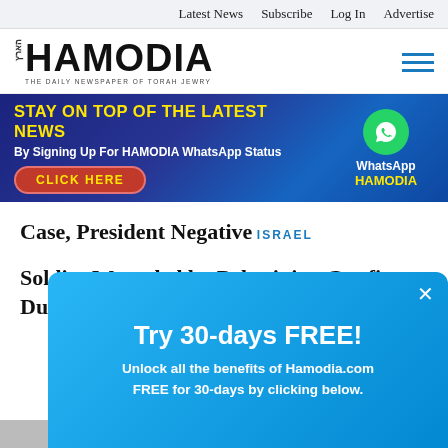Latest News  Subscribe  Log In  Advertise
[Figure (logo): Hamodia logo - The Daily Newspaper of Torah Jewry]
[Figure (infographic): Banner ad: STAY ON TOP OF THE LATEST NEWS By Signing Up For HAMODIA WhatsApp Status - CLICK HERE. WhatsApp HAMODIA logo on right.]
Case, President Negative
ISRAEL
Soldier Wounded by Palestinian Gunfire During Shomron Mi...
[Figure (infographic): Popup overlay: Try 30-days FREE! Unlock all the benefits of Hamodia.com FREE for 30-days by clicking below. X close button.]